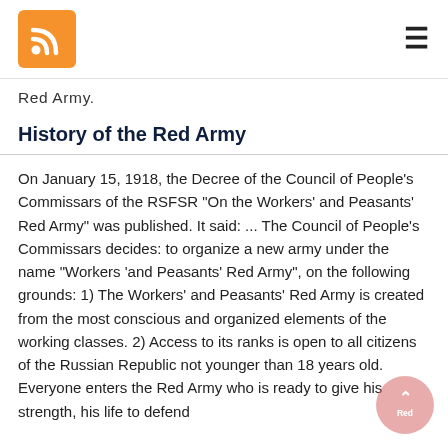RSS feed icon and hamburger menu
Red Army.
History of the Red Army
On January 15, 1918, the Decree of the Council of People's Commissars of the RSFSR "On the Workers' and Peasants' Red Army" was published. It said: ... The Council of People's Commissars decides: to organize a new army under the name "Workers 'and Peasants' Red Army", on the following grounds: 1) The Workers' and Peasants' Red Army is created from the most conscious and organized elements of the working classes. 2) Access to its ranks is open to all citizens of the Russian Republic not younger than 18 years old. Everyone enters the Red Army who is ready to give his strength, his life to defend